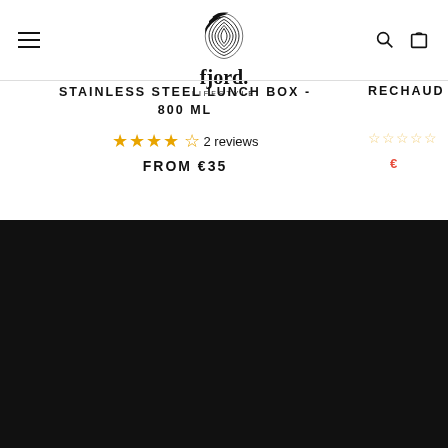Fjord. Lifestyle - Navigation bar with hamburger menu, logo, search and cart icons
STAINLESS STEEL LUNCH BOX - 800 ML
★★★★☆ 2 reviews
FROM €35
RECHAUD
ABOUT.
The sustainable outdoor brand for adventure seekers.
NEWSLETTER.
Enter your email address